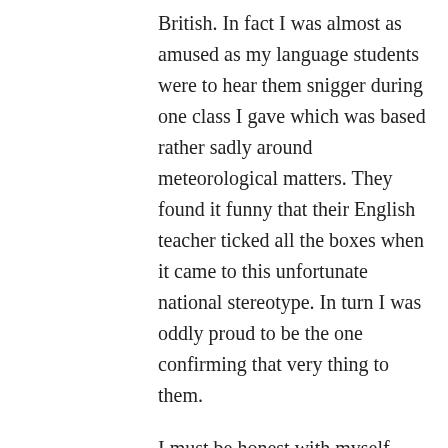British. In fact I was almost as amused as my language students were to hear them snigger during one class I gave which was based rather sadly around meteorological matters. They found it funny that their English teacher ticked all the boxes when it came to this unfortunate national stereotype. In turn I was oddly proud to be the one confirming that very thing to them.
I must be honest with myself though: it may have been ok to talk about the fact we have a lot of rain in the UK but clearly it